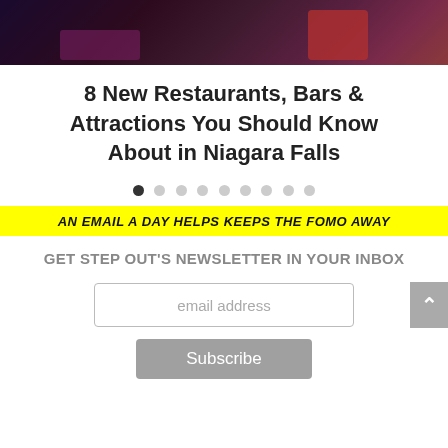[Figure (photo): Dark interior photo of a restaurant or bar with red chairs/seating and purple accent lighting]
8 New Restaurants, Bars & Attractions You Should Know About in Niagara Falls
• • • • • • • • • (pagination dots, first dot active)
AN EMAIL A DAY HELPS KEEPS THE FOMO AWAY
GET STEP OUT'S NEWSLETTER IN YOUR INBOX
email address
Subscribe